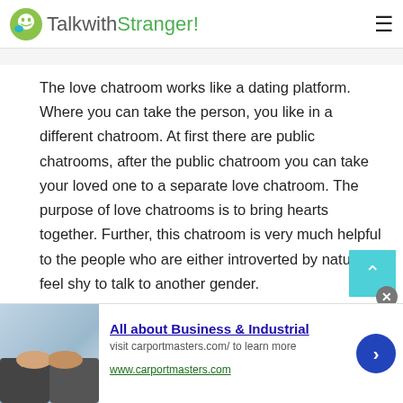TalkwithStranger!
The love chatroom works like a dating platform. Where you can take the person, you like in a different chatroom. At first there are public chatrooms, after the public chatroom you can take your loved one to a separate love chatroom. The purpose of love chatrooms is to bring hearts together. Further, this chatroom is very much helpful to the people who are either introverted by nature or feel shy to talk to another gender.
Make New Friends:
[Figure (other): Advertisement banner: handshake business image with text 'All about Business & Industrial', visit carportmasters.com/ to learn more, www.carportmasters.com]